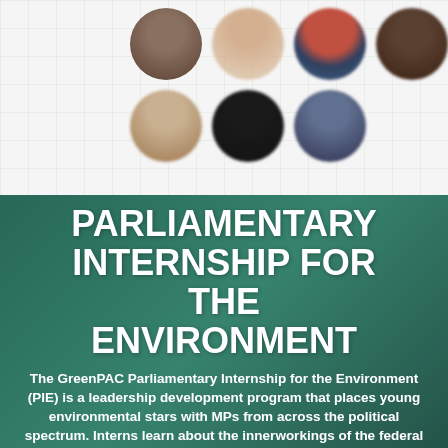[Figure (photo): Grid of seven circular profile photos of people on a light grid-pattern background. Top row has four photos, bottom row has three photos.]
PARLIAMENTARY INTERNSHIP FOR THE ENVIRONMENT
The GreenPAC Parliamentary Internship for the Environment (PIE) is a leadership development program that places young environmental stars with MPs from across the political spectrum. Interns learn about the innerworkings of the federal government and